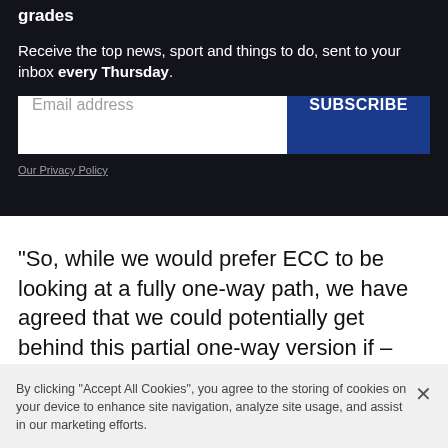grades
Receive the top news, sport and things to do, sent to your inbox every Thursday.
Email address
SUBSCRIBE
Our Privacy Policy
“So, while we would prefer ECC to be looking at a fully one-way path, we have agreed that we could potentially get behind this partial one-way version if – and this is critical – they add additional safety measures on the
By clicking “Accept All Cookies”, you agree to the storing of cookies on your device to enhance site navigation, analyze site usage, and assist in our marketing efforts.